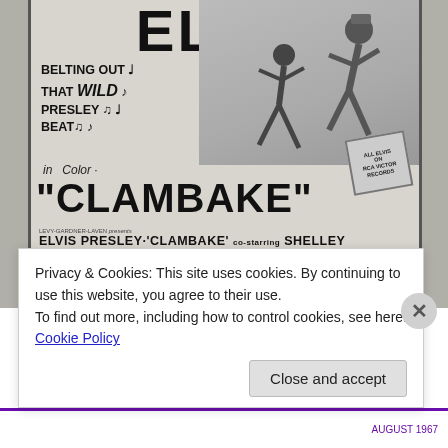[Figure (illustration): Black and white Elvis Presley 'Clambake' movie poster showing Elvis title text at top, tagline 'Belting out that wild Presley beat' with musical notes, dancing figures, 'in Color' text, large CLAMBAKE title, RCA Victor badge, and film credits including Elvis Presley, Shelley Fabares, Will Hutchins, Bill Bixby, Gary Merrill, James Gregory, with United Artists logo.]
Privacy & Cookies: This site uses cookies. By continuing to use this website, you agree to their use.
To find out more, including how to control cookies, see here: Cookie Policy
Close and accept